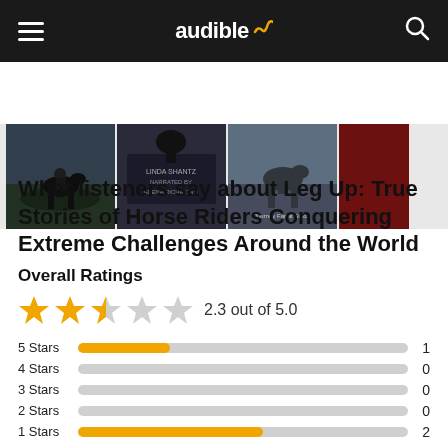audible
[Figure (photo): Strip of four audiobook cover images featuring horses and riders]
What listeners say about Leg Up: True Stories of Horse Riders Conquering Extreme Challenges Around the World
Overall Ratings
[Figure (infographic): Star rating: 2.3 out of 5.0 shown with 5 stars (2 filled orange, 1 half, 2 empty)]
| Stars | Bar | Count |
| --- | --- | --- |
| 5 Stars | short orange bar | 1 |
| 4 Stars | no bar | 0 |
| 3 Stars | no bar | 0 |
| 2 Stars | no bar | 0 |
| 1 Stars | long orange bar | 2 |